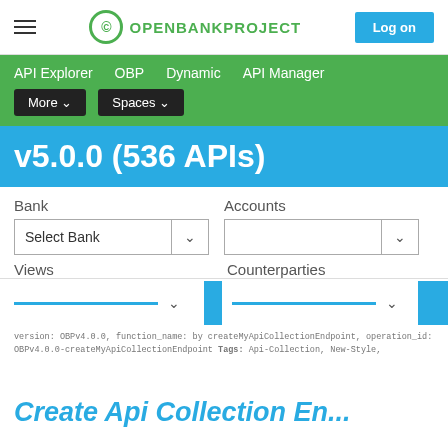OPENBANKPROJECT  Log on
API Explorer  OBP  Dynamic  API Manager  More ▾  Spaces ▾
v5.0.0 (536 APIs)
Bank
Accounts
Select Bank
Views
Counterparties
version: OBPv4.0.0, function_name: by createMyApiCollectionEndpoint, operation_id: OBPv4.0.0-createMyApiCollectionEndpoint Tags: Api-Collection, New-Style,